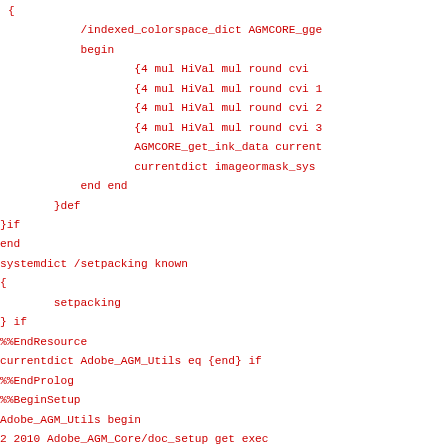{
            /indexed_colorspace_dict AGMCORE_gge
            begin
                    {4 mul HiVal mul round cvi
                    {4 mul HiVal mul round cvi 1
                    {4 mul HiVal mul round cvi 2
                    {4 mul HiVal mul round cvi 3
                    AGMCORE_get_ink_data current
                    currentdict imageormask_sys
            end end
        }def
}if
end
systemdict /setpacking known
{
        setpacking
} if
%%EndResource
currentdict Adobe_AGM_Utils eq {end} if
%%EndProlog
%%BeginSetup
Adobe_AGM_Utils begin
2 2010 Adobe_AGM_Core/doc_setup get exec
Adobe_CoolType_Core/doc_setup get exec
Adobe_AGM_Image/doc_setup get exec
currentdict Adobe_AGM_Utils eq {end} if
%%EndSetup
%%Page: (Page 1) 1
%%EndPageComments
%%BeginPageSetup
/currentdistillerparams where